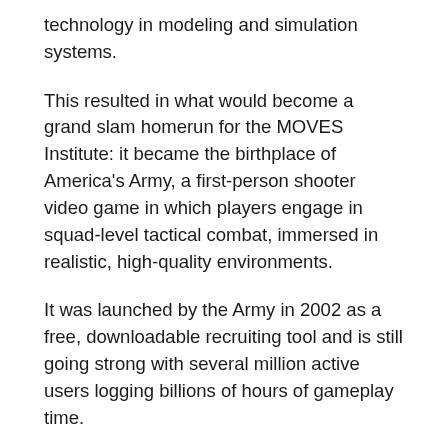technology in modeling and simulation systems.
This resulted in what would become a grand slam homerun for the MOVES Institute: it became the birthplace of America's Army, a first-person shooter video game in which players engage in squad-level tactical combat, immersed in realistic, high-quality environments.
It was launched by the Army in 2002 as a free, downloadable recruiting tool and is still going strong with several million active users logging billions of hours of gameplay time.
“It's the very first serious game that had a big impact. It became one of the top five played games online in the years that it was out and it was the most successful recruiting tool ever built by the U.S. Army,” Zyda said.